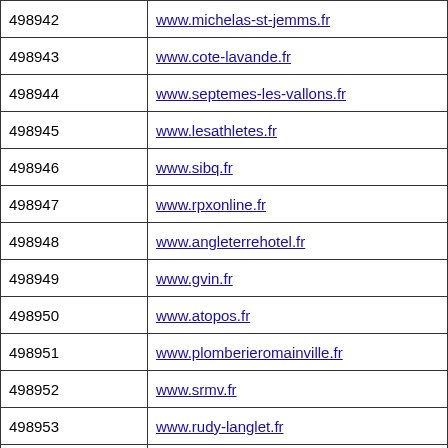| 498942 | www.michelas-st-jemms.fr |
| 498943 | www.cote-lavande.fr |
| 498944 | www.septemes-les-vallons.fr |
| 498945 | www.lesathletes.fr |
| 498946 | www.sibq.fr |
| 498947 | www.rpxonline.fr |
| 498948 | www.angleterrehotel.fr |
| 498949 | www.gvin.fr |
| 498950 | www.atopos.fr |
| 498951 | www.plomberieromainville.fr |
| 498952 | www.srmv.fr |
| 498953 | www.rudy-langlet.fr |
| 498954 | www.ecopolymers3d.fr |
| 498955 | www.groupe-qualiconsult.fr |
| 498956 | www.culion.fr |
| 498957 | www.elodie.fr |